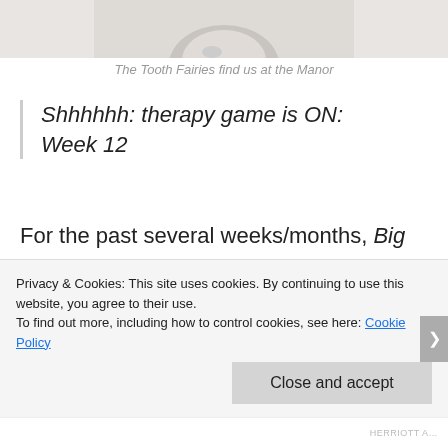[Figure (photo): Partial view of a tooth or dental object against a light background, cropped at the top of the page]
The Tooth Fairies find us at the Manor
Shhhhhh: therapy game is ON: Week 12
For the past several weeks/months, Big has had a very sleepy, jiggly, wiggly loose front baby tooth. Keep in mind, she is 8,
Privacy & Cookies: This site uses cookies. By continuing to use this website, you agree to their use.
To find out more, including how to control cookies, see here: Cookie Policy
Close and accept